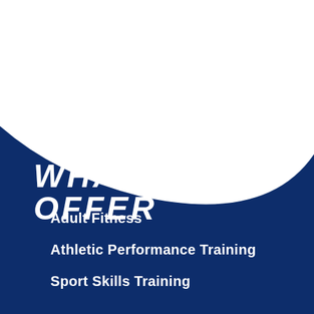[Figure (illustration): Dark navy blue wave background filling the bottom two-thirds of the page, with a white curved area in the upper-right portion creating a swooping wave shape.]
WHAT WE OFFER
Adult Fitness
Athletic Performance Training
Sport Skills Training